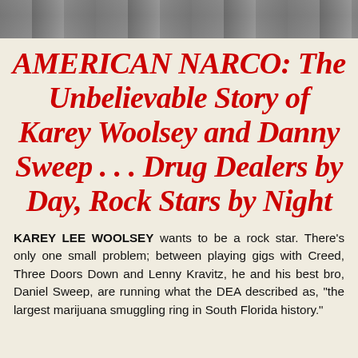[Figure (photo): Partial photo strip at top of page showing a blurred/cropped image, appears to be a person or outdoor scene in muted tones.]
AMERICAN NARCO: The Unbelievable Story of Karey Woolsey and Danny Sweep . . . Drug Dealers by Day, Rock Stars by Night
KAREY LEE WOOLSEY wants to be a rock star. There's only one small problem; between playing gigs with Creed, Three Doors Down and Lenny Kravitz, he and his best bro, Daniel Sweep, are running what the DEA described as, "the largest marijuana smuggling ring in South Florida history."